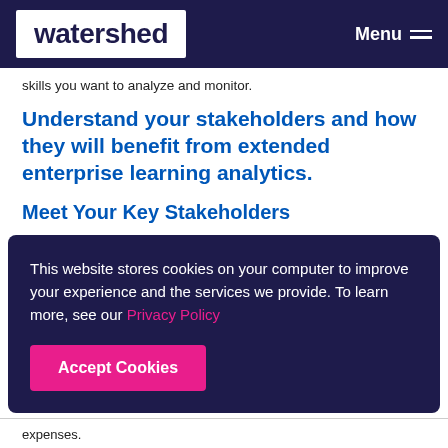watershed | Menu
skills you want to analyze and monitor.
Understand your stakeholders and how they will benefit from extended enterprise learning analytics.
Meet Your Key Stakeholders
This website stores cookies on your computer to improve your experience and the services we provide. To learn more, see our Privacy Policy
Accept Cookies
expenses.